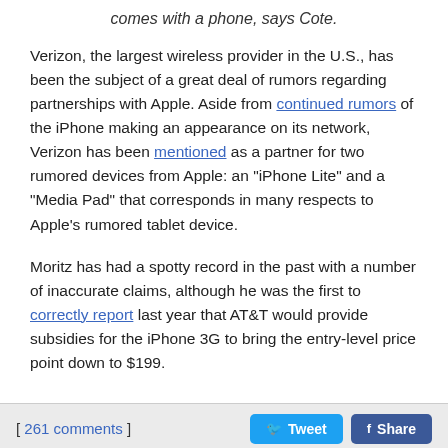comes with a phone, says Cote.
Verizon, the largest wireless provider in the U.S., has been the subject of a great deal of rumors regarding partnerships with Apple. Aside from continued rumors of the iPhone making an appearance on its network, Verizon has been mentioned as a partner for two rumored devices from Apple: an "iPhone Lite" and a "Media Pad" that corresponds in many respects to Apple's rumored tablet device.
Moritz has had a spotty record in the past with a number of inaccurate claims, although he was the first to correctly report last year that AT&T would provide subsidies for the iPhone 3G to bring the entry-level price point down to $199.
[ 261 comments ]
Get weekly top MacRumors stories in your inbox.